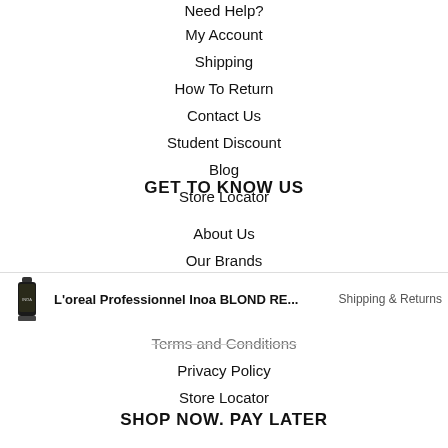Need Help?
My Account
Shipping
How To Return
Contact Us
Student Discount
Blog
Store Locator
GET TO KNOW US
About Us
Our Brands
The Beauty Edit
Terms and Conditions
Privacy Policy
Store Locator
SHOP NOW. PAY LATER
L'oreal Professionnel Inoa BLOND RE...
Shipping & Returns